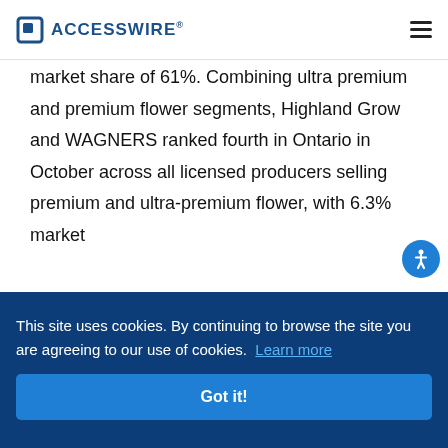ACCESSWIRE®
market share of 61%. Combining ultra premium and premium flower segments, Highland Grow and WAGNERS ranked fourth in Ontario in October across all licensed producers selling premium and ultra-premium flower, with 6.3% market
This site uses cookies. By continuing to browse the site you are agreeing to our use of cookies. Learn more
Got it!
Alberta market with 18 active SKUs